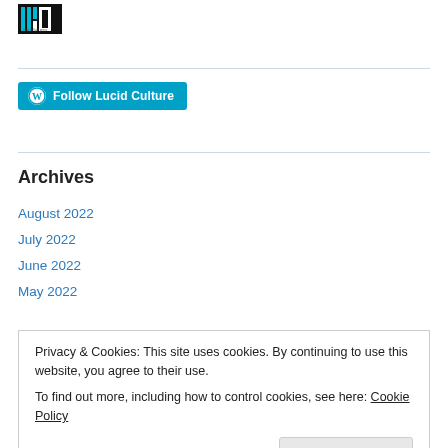[Figure (logo): LLP logo with teal/black design]
[Figure (other): Follow Lucid Culture button with WordPress icon]
Archives
August 2022
July 2022
June 2022
May 2022
Privacy & Cookies: This site uses cookies. By continuing to use this website, you agree to their use.
To find out more, including how to control cookies, see here: Cookie Policy
October 2021